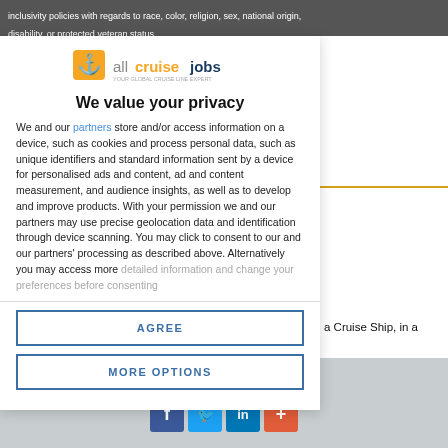inclusivity policies with regards to race, color, religion, sex, national origin, disability, or protected veteran status.
[Figure (logo): All Cruise Jobs logo with anchor icon and orange/blue text]
We value your privacy
We and our partners store and/or access information on a device, such as cookies and process personal data, such as unique identifiers and standard information sent by a device for personalised ads and content, ad and content measurement, and audience insights, as well as to develop and improve products. With your permission we and our partners may use precise geolocation data and identification through device scanning. You may click to consent to our and our partners' processing as described above. Alternatively you may access more detailed information and change your preferences before consenting
AGREE
MORE OPTIONS
a Cruise Ship, in a
Share this page: